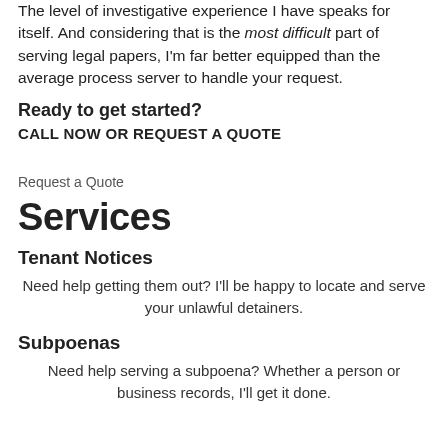The level of investigative experience I have speaks for itself.  And considering that is the most difficult part of serving legal papers, I'm far better equipped than the average process server to handle your request.
Ready to get started?
CALL NOW OR REQUEST A QUOTE
Request a Quote
Services
Tenant Notices
Need help getting them out?  I'll be happy to locate and serve your unlawful detainers.
Subpoenas
Need help serving a subpoena?  Whether a person or business records, I'll get it done.